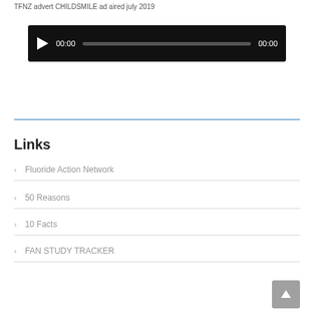TFNZ advert CHILDSMILE ad aired july 2019
[Figure (screenshot): Audio player with dark background, play button, time display showing 00:00, a progress bar, and end time 00:00]
Links
Fluoride Action Network
50 Reasons
10 Facts
FAN STUDY TRACKER